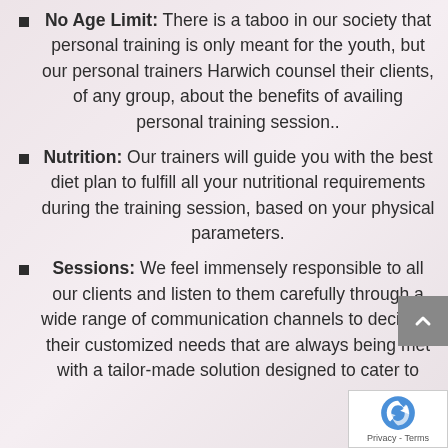No Age Limit: There is a taboo in our society that personal training is only meant for the youth, but our personal trainers Harwich counsel their clients, of any group, about the benefits of availing personal training session..
Nutrition: Our trainers will guide you with the best diet plan to fulfill all your nutritional requirements during the training session, based on your physical parameters.
Sessions: We feel immensely responsible to all our clients and listen to them carefully through a wide range of communication channels to decipher their customized needs that are always being met with a tailor-made solution designed to cater to